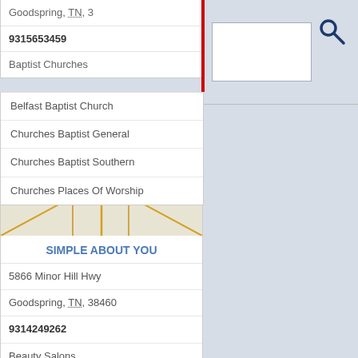Goodspring, TN, 3
9315653459
Baptist Churches
Belfast Baptist Church
Churches Baptist General
Churches Baptist Southern
Churches Places Of Worship
[Figure (map): Map showing location pin over road network near Goodspring, TN area]
SIMPLE ABOUT YOU
5866 Minor Hill Hwy
Goodspring, TN, 38460
9314249262
Beauty Salons
Bikini Wax
Bikini Waxing
Black Hair Salons
Body Waxing